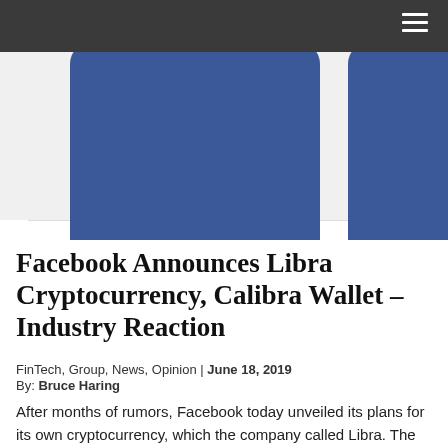[Figure (screenshot): Navigation bar with dark background and hamburger menu icon on the right]
[Figure (illustration): Facebook logo graphic showing blue rounded square shapes on light grey background, partially cropped]
Facebook Announces Libra Cryptocurrency, Calibra Wallet – Industry Reaction
FinTech, Group, News, Opinion | June 18, 2019
By: Bruce Haring
After months of rumors, Facebook today unveiled its plans for its own cryptocurrency, which the company called Libra. The social media network is launching with support from partners including PayPal, Uber, Spotify, Visa and Mastercard and plans to debut Libra sometime in the next six to 12 months.